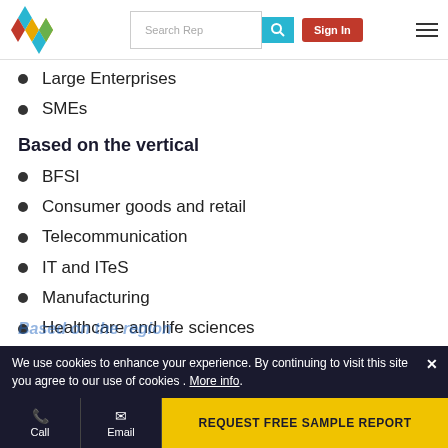Search Rep | Sign In
Large Enterprises
SMEs
Based on the vertical
BFSI
Consumer goods and retail
Telecommunication
IT and ITeS
Manufacturing
Healthcare and life sciences
Energy and utility
Others
We use cookies to enhance your experience. By continuing to visit this site you agree to our use of cookies . More info.
Call | Email | REQUEST FREE SAMPLE REPORT